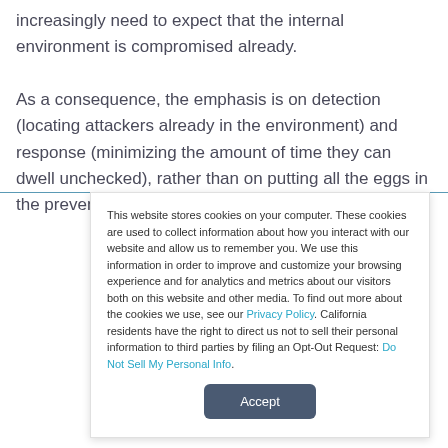increasingly need to expect that the internal environment is compromised already.

As a consequence, the emphasis is on detection (locating attackers already in the environment) and response (minimizing the amount of time they can dwell unchecked), rather than on putting all the eggs in the prevention basket and
This website stores cookies on your computer. These cookies are used to collect information about how you interact with our website and allow us to remember you. We use this information in order to improve and customize your browsing experience and for analytics and metrics about our visitors both on this website and other media. To find out more about the cookies we use, see our Privacy Policy. California residents have the right to direct us not to sell their personal information to third parties by filing an Opt-Out Request: Do Not Sell My Personal Info.